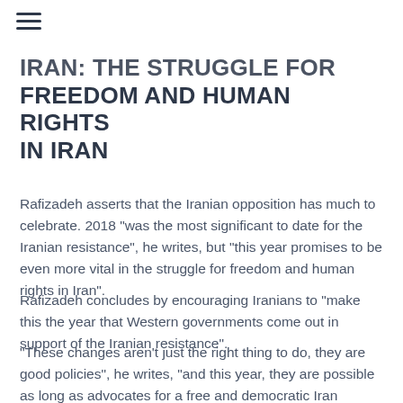≡
IRAN: THE STRUGGLE FOR FREEDOM AND HUMAN RIGHTS IN IRAN
Rafizadeh asserts that the Iranian opposition has much to celebrate. 2018 "was the most significant to date for the Iranian resistance", he writes, but "this year promises to be even more vital in the struggle for freedom and human rights in Iran".
Rafizadeh concludes by encouraging Iranians to "make this the year that Western governments come out in support of the Iranian resistance".
"These changes aren't just the right thing to do, they are good policies", he writes, "and this year, they are possible as long as advocates for a free and democratic Iran continue to make their voices heard."